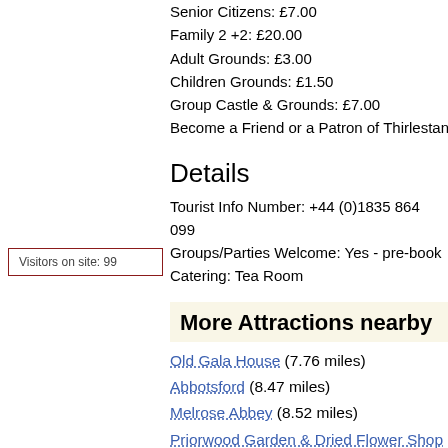Senior Citizens: £7.00
Family 2 +2: £20.00
Adult Grounds: £3.00
Children Grounds: £1.50
Group Castle & Grounds: £7.00
Become a Friend or a Patron of Thirlestane Castle an
Visitors on site: 99
Details
Tourist Info Number: +44 (0)1835 864 099
Groups/Parties Welcome: Yes - pre-book
Catering: Tea Room
More Attractions nearby
Old Gala House (7.76 miles)
Abbotsford (8.47 miles)
Melrose Abbey (8.52 miles)
Priorwood Garden & Dried Flower Shop (8.58 miles)
Mellerstain House & Gardens (9.02 miles)
Today's best hotels deals
This page viewed on 5,074 occasions since Oct 16th
Brit Quote: